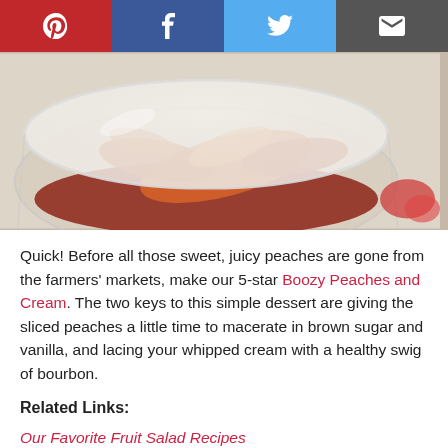[Figure (infographic): Social media sharing bar with Pinterest (red), Facebook (dark blue), Twitter (light blue), and Email (dark gray) buttons with white icons]
[Figure (photo): Close-up photo of a glass containing Boozy Peaches and Cream dessert — sliced peaches in brown sugar syrup with whipped cream, shot from above on a white surface]
Quick! Before all those sweet, juicy peaches are gone from the farmers' markets, make our 5-star Boozy Peaches and Cream. The two keys to this simple dessert are giving the sliced peaches a little time to macerate in brown sugar and vanilla, and lacing your whipped cream with a healthy swig of bourbon.
Related Links:
Our Favorite Fruit Salad Recipes
Every Way to Make Banana Bread